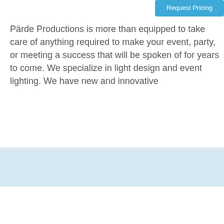Request Pricing
Pärde Productions is more than equipped to take care of anything required to make your event, party, or meeting a success that will be spoken of for years to come. We specialize in light design and event lighting. We have new and innovative
[Figure (other): Light blue placeholder area for vendor image or map]
Party Rentals Santa Clarita
26 miles from Westlake Village, CA
Request Pricing